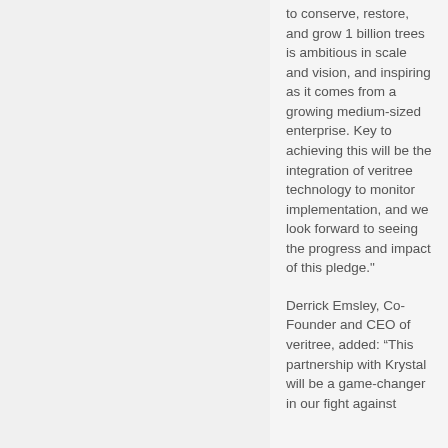to conserve, restore, and grow 1 billion trees is ambitious in scale and vision, and inspiring as it comes from a growing medium-sized enterprise. Key to achieving this will be the integration of veritree technology to monitor implementation, and we look forward to seeing the progress and impact of this pledge."
Derrick Emsley, Co-Founder and CEO of veritree, added: “This partnership with Krystal will be a game-changer in our fight against